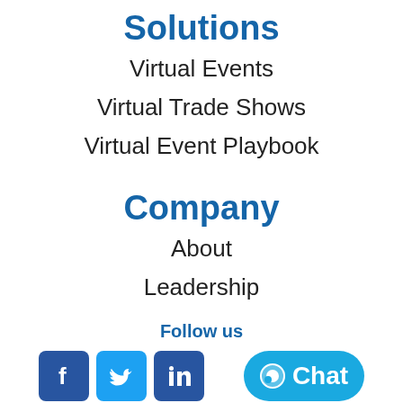Solutions
Virtual Events
Virtual Trade Shows
Virtual Event Playbook
Company
About
Leadership
Follow us
[Figure (infographic): Social media icons for Facebook, Twitter, LinkedIn and a Chat button]